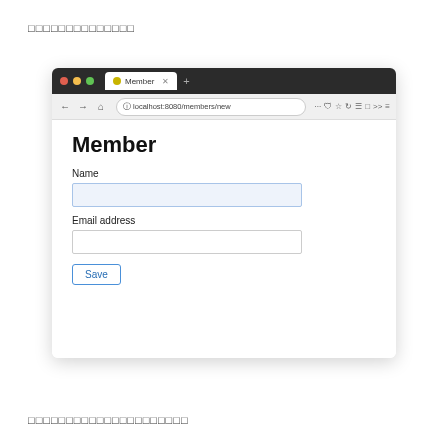□□□□□□□□□□□□□□
[Figure (screenshot): Browser screenshot showing a Member form at localhost:8080/members/new with fields for Name and Email address, and a Save button]
□□□□□□□□□□□□□□□□□□□□□